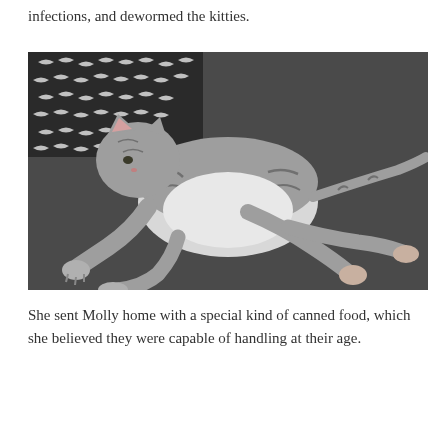infections, and dewormed the kitties.
[Figure (photo): A gray tabby kitten lying stretched out on a dark gray surface, with a patterned black and white pillow in the upper left corner. The kitten is lying on its side with all four legs extended outward.]
She sent Molly home with a special kind of canned food, which she believed they were capable of handling at their age.